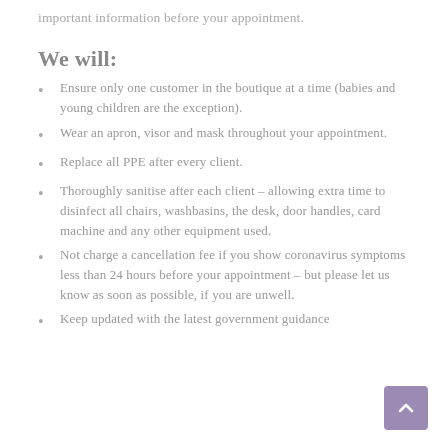important information before your appointment.
We will:
Ensure only one customer in the boutique at a time (babies and young children are the exception).
Wear an apron, visor and mask throughout your appointment.
Replace all PPE after every client.
Thoroughly sanitise after each client – allowing extra time to disinfect all chairs, washbasins, the desk, door handles, card machine and any other equipment used.
Not charge a cancellation fee if you show coronavirus symptoms less than 24 hours before your appointment – but please let us know as soon as possible, if you are unwell.
Keep updated with the latest government guidance